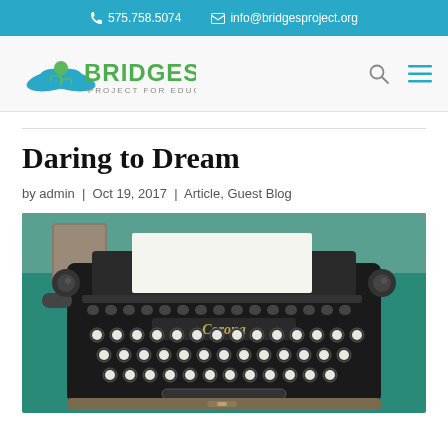575.758.5074  info@bridgesproject.org
[Figure (logo): Bridges Project for Education logo with blue hands and green text]
Daring to Dream
by admin | Oct 19, 2017 | Article, Guest Blog
[Figure (photo): Photograph of a vintage Corona typewriter on a teal/green surface with a book in the background]